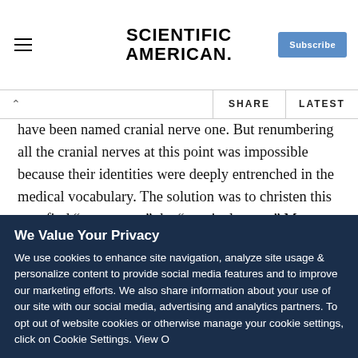SCIENTIFIC AMERICAN
have been named cranial nerve one. But renumbering all the cranial nerves at this point was impossible because their identities were deeply entrenched in the medical vocabulary. The solution was to christen this new find “nerve zero,” the “terminal nerve.” Most people forgot about it altogether. It just did not fit within the 12-nerve curriculum. And anyway, all five senses were accounted for by the other cranial nerves. How important could this little nerve be?
We Value Your Privacy
We use cookies to enhance site navigation, analyze site usage & personalize content to provide social media features and to improve our marketing efforts. We also share information about your use of our site with our social media, advertising and analytics partners. To opt out of website cookies or otherwise manage your cookie settings, click on Cookie Settings. View O...